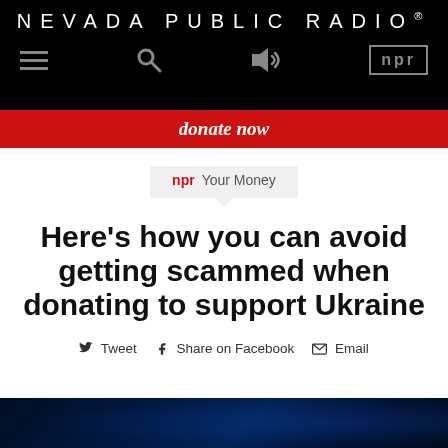NEVADA PUBLIC RADIO®
[Figure (screenshot): Nevada Public Radio website header with black background, hamburger menu, search, audio icons, and NPR logo box]
donate now
npr Your Money
Here's how you can avoid getting scammed when donating to support Ukraine
Tweet   Share on Facebook   Email
[Figure (photo): Dark blue digital/cyber background image with glowing blue data/binary elements]